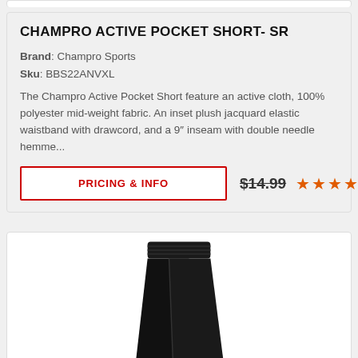CHAMPRO ACTIVE POCKET SHORT- SR
Brand: Champro Sports
Sku: BBS22ANVXL
The Champro Active Pocket Short feature an active cloth, 100% polyester mid-weight fabric. An inset plush jacquard elastic waistband with drawcord, and a 9″ inseam with double needle hemme...
PRICING & INFO   $14.99  ★★★★★
[Figure (photo): Black athletic shorts product photo, shown against white background]